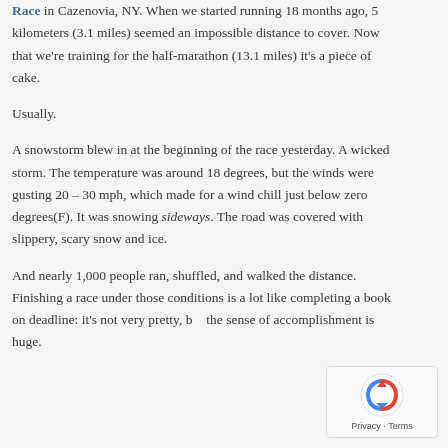Race in Cazenovia, NY. When we started running 18 months ago, 5 kilometers (3.1 miles) seemed an impossible distance to cover. Now that we're training for the half-marathon (13.1 miles) it's a piece of cake.
Usually.
A snowstorm blew in at the beginning of the race yesterday. A wicked storm. The temperature was around 18 degrees, but the winds were gusting 20 – 30 mph, which made for a wind chill just below zero degrees(F). It was snowing sideways. The road was covered with slippery, scary snow and ice.
And nearly 1,000 people ran, shuffled, and walked the distance. Finishing a race under those conditions is a lot like completing a book on deadline: it's not very pretty, but the sense of accomplishment is huge.